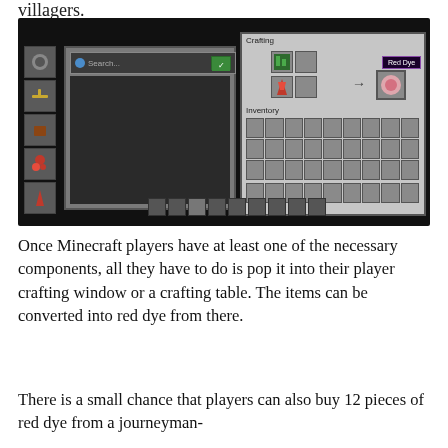villagers.
[Figure (screenshot): Minecraft crafting interface showing inventory panel on left with search bar and item slots, and crafting table panel on right showing a red dye crafting recipe with a 'Red Dye' tooltip on the result slot. Inventory grid visible below the crafting area.]
Once Minecraft players have at least one of the necessary components, all they have to do is pop it into their player crafting window or a crafting table. The items can be converted into red dye from there.
There is a small chance that players can also buy 12 pieces of red dye from a journeyman-